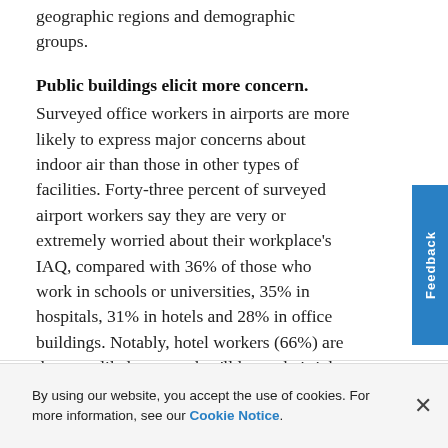geographic regions and demographic groups.
Public buildings elicit more concern.
Surveyed office workers in airports are more likely to express major concerns about indoor air than those in other types of facilities. Forty-three percent of surveyed airport workers say they are very or extremely worried about their workplace's IAQ, compared with 36% of those who work in schools or universities, 35% in hospitals, 31% in hotels and 28% in office buildings. Notably, hotel workers (66%) are the most likely to say they'll leave their job if they feel
By using our website, you accept the use of cookies. For more information, see our Cookie Notice.